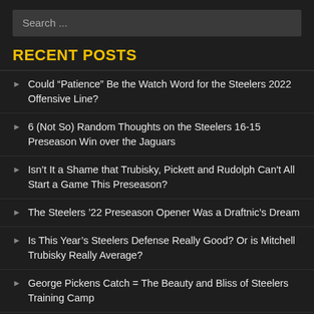Search ...
RECENT POSTS
Could “Patience” Be the Watch Word for the Steelers 2022 Offensive Line?
6 (Not So) Random Thoughts on the Steelers 16-15 Preseason Win over the Jaguars
Isn’t It a Shame that Trubisky, Pickett and Rudolph Can't All Start a Game This Preseason?
The Steelers ’22 Preseason Opener Was a Draftnic’s Dream
Is This Year’s Steelers Defense Really Good? Or is Mitchell Trubisky Really Average?
George Pickens Catch = The Beauty and Bliss of Steelers Training Camp